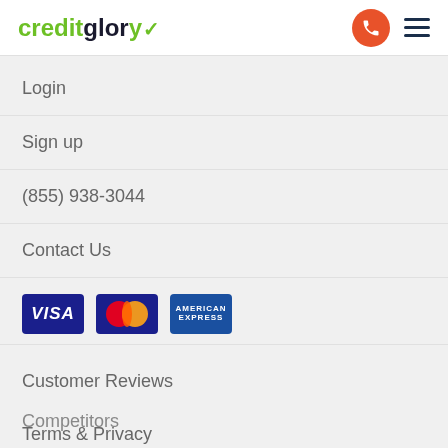creditglory
Login
Sign up
(855) 938-3044
Contact Us
[Figure (logo): Payment method logos: VISA, MasterCard, American Express]
Customer Reviews
Terms & Privacy
Affiliates
FAQs
Competitors